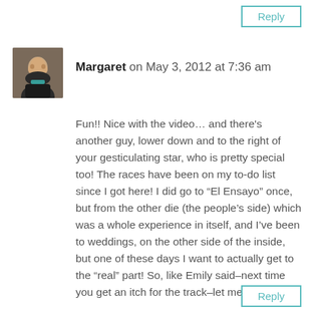Reply
[Figure (photo): Avatar photo of Margaret, a woman smiling, dark jacket, teal top]
Margaret on May 3, 2012 at 7:36 am
Fun!! Nice with the video… and there's another guy, lower down and to the right of your gesticulating star, who is pretty special too! The races have been on my to-do list since I got here! I did go to “El Ensayo” once, but from the other die (the people’s side) which was a whole experience in itself, and I’ve been to weddings, on the other side of the inside, but one of these days I want to actually get to the “real” part! So, like Emily said–next time you get an itch for the track–let me know!
Reply